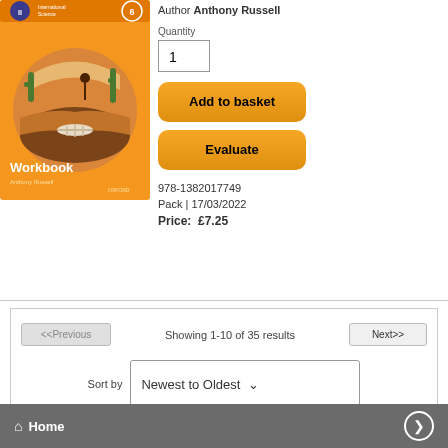[Figure (illustration): Orange book cover for a Workbook in the Oxford International Science series, level 6, by Anthony Russell. Features a circular illustration of a desert scene with cacti and skeletal remains.]
Author Anthony Russell
Quantity
1
Add to basket
Evaluate
978-1382017749
Pack | 17/03/2022
Price:  £7.25
<<Previous
Showing 1-10 of 35 results
Next>>
Sort by  Newest to Oldest
Home